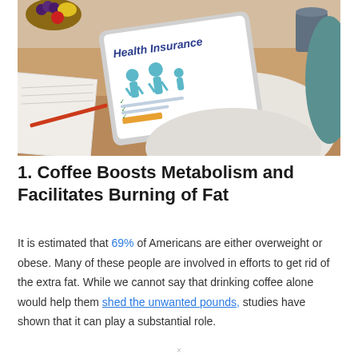[Figure (photo): Person holding a tablet displaying a Health Insurance webpage with family figure icons, seated at a wooden desk with a notebook, fruit bowl, mug, and pen visible]
1. Coffee Boosts Metabolism and Facilitates Burning of Fat
It is estimated that 69% of Americans are either overweight or obese. Many of these people are involved in efforts to get rid of the extra fat. While we cannot say that drinking coffee alone would help them shed the unwanted pounds, studies have shown that it can play a substantial role.